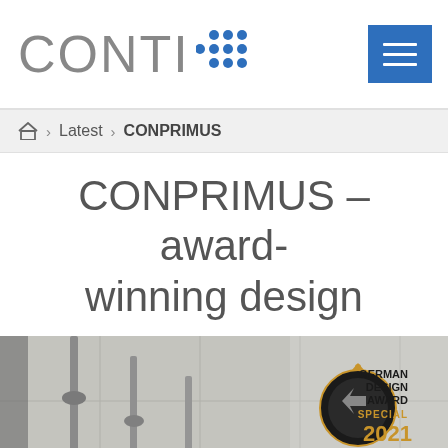CONTI+
Home > Latest > CONPRIMUS
CONPRIMUS – award-winning design
[Figure (photo): Shower product image showing CONPRIMUS shower fixtures mounted on a light grey tiled wall, with a German Design Award Special 2021 badge overlaid in the top right corner]